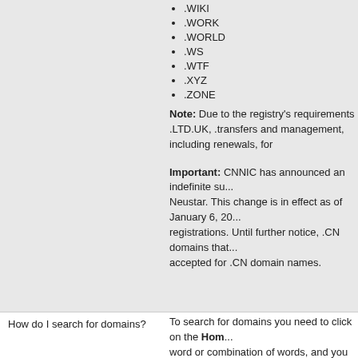.WIKI
.WORK
.WORLD
.WS
.WTF
.XYZ
.ZONE
Note: Due to the registry's requirements .LTD.UK, ... transfers and management, including renewals, for
Important: CNNIC has announced an indefinite su... Neustar. This change is in effect as of January 6, 20... registrations. Until further notice, .CN domains that... accepted for .CN domain names.
To search for domains you need to click on the Hom... word or combination of words, and you can search... This does not include the TLD extension, such as .c
How do I search for domains?
Enter your search word in the text field, and click Fi
The search results indicate whether the domain na... Success! next to the name. The results page also